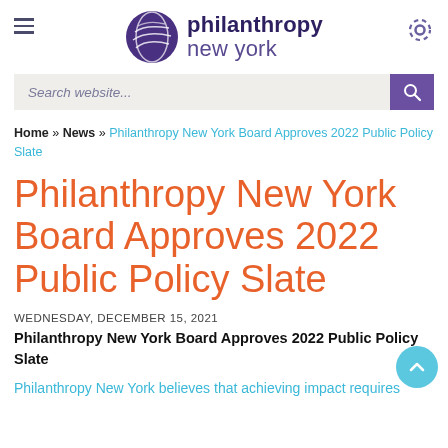Philanthropy New York
Search website...
Home » News » Philanthropy New York Board Approves 2022 Public Policy Slate
Philanthropy New York Board Approves 2022 Public Policy Slate
WEDNESDAY, DECEMBER 15, 2021
Philanthropy New York Board Approves 2022 Public Policy Slate
Philanthropy New York believes that achieving impact requires